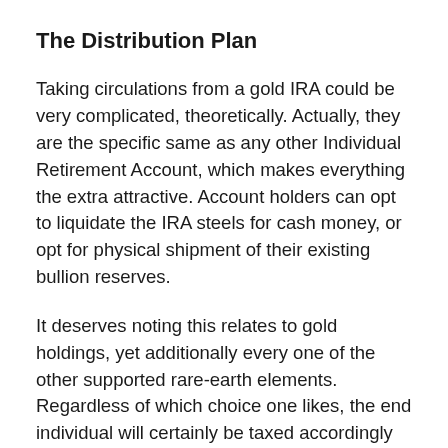The Distribution Plan
Taking circulations from a gold IRA could be very complicated, theoretically. Actually, they are the specific same as any other Individual Retirement Account, which makes everything the extra attractive. Account holders can opt to liquidate the IRA steels for cash money, or opt for physical shipment of their existing bullion reserves.
It deserves noting this relates to gold holdings, yet additionally every one of the other supported rare-earth elements. Regardless of which choice one likes, the end individual will certainly be taxed accordingly to their activity. What the tax prices are